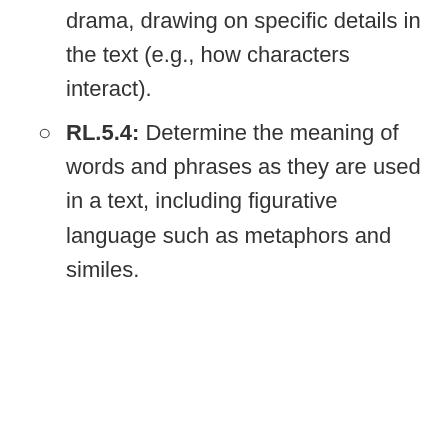drama, drawing on specific details in the text (e.g., how characters interact).
RL.5.4: Determine the meaning of words and phrases as they are used in a text, including figurative language such as metaphors and similes.